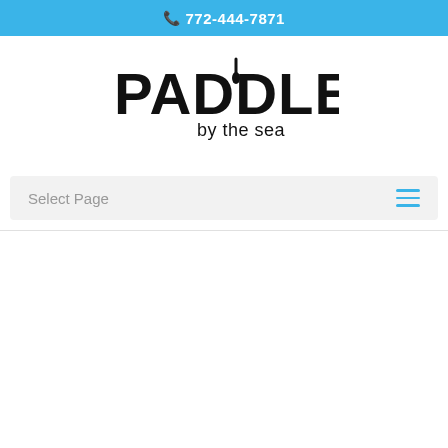📞 772-444-7871
[Figure (logo): Paddles by the Sea logo — large bold black text 'PADDLES' with a paddle icon integrated into the letters, and 'by the sea' in smaller text below]
Select Page